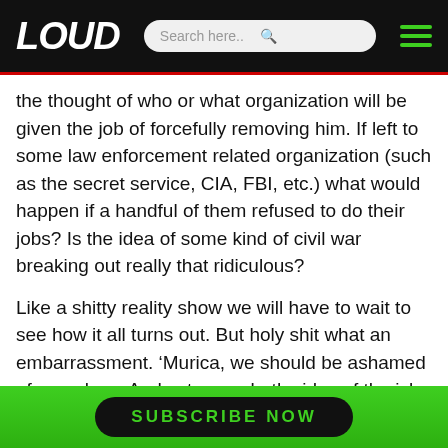LOUD [logo] | Search here.. | Menu
the thought of who or what organization will be given the job of forcefully removing him. If left to some law enforcement related organization (such as the secret service, CIA, FBI, etc.) what would happen if a handful of them refused to do their jobs? Is the idea of some kind of civil war breaking out really that ridiculous?
Like a shitty reality show we will have to wait to see how it all turns out. But holy shit what an embarrassment. ‘Murica, we should be ashamed of ourselves. And voters on both sides of the isle should be terrified.
SUBSCRIBE NOW